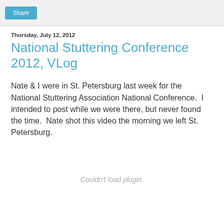Share
Thursday, July 12, 2012
National Stuttering Conference 2012, VLog
Nate & I were in St. Petersburg last week for the National Stuttering Association National Conference.  I intended to post while we were there, but never found the time.  Nate shot this video the morning we left St. Petersburg.
[Figure (other): Couldn't load plugin.]